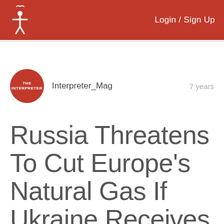Login / Sign Up
Interpreter_Mag   7 years
Russia Threatens To Cut Europe's Natural Gas If Ukraine Receives Any